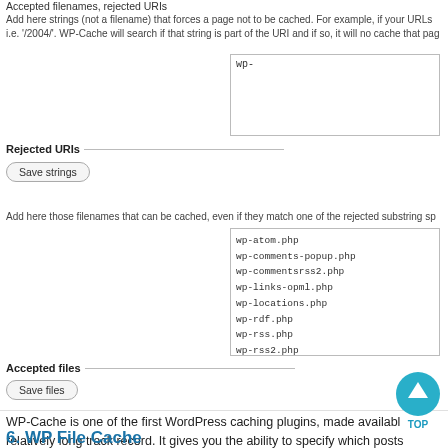Accepted filenames, rejected URIs
Add here strings (not a filename) that forces a page not to be cached. For example, if your URLs i.e. '/2004/'. WP-Cache will search if that string is part of the URI and if so, it will no cache that page.
wp-
Rejected URIs
Save strings
Add here those filenames that can be cached, even if they match one of the rejected substring sp
wp-atom.php
wp-comments-popup.php
wp-commentsrss2.php
wp-links-opml.php
wp-locations.php
wp-rdf.php
wp-rss.php
wp-rss2.php
Accepted files
Save files
WP-Cache is one of the first WordPress caching plugins, made available relatively long track record. It gives you the ability to specify which posts
The plugin operates well, but its update frequency is comp ely lowe
6. WP File Cache